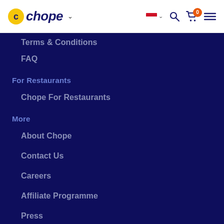Chope navigation bar with logo, flag selector, search, cart (0), and menu icons
Terms & Conditions
FAQ
For Restaurants
Chope For Restaurants
More
About Chope
Contact Us
Careers
Affiliate Programme
Press
Download our App